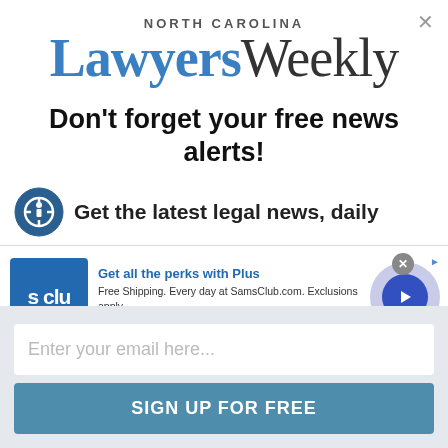[Figure (logo): North Carolina Lawyers Weekly logo — 'NORTH CAROLINA' in small caps above large 'Lawyers' in blue serif and 'Weekly' in dark serif]
Don't forget your free news alerts!
Get the latest legal news, daily
[Figure (screenshot): Sam's Club advertisement banner: logo 's clu' on blue square, headline 'Get all the perks with Plus', text 'Free Shipping. Every day at SamsClub.com. Exclusions apply.', link 'www.samsclub.com', arrow button on right]
Enter your email here...
SIGN UP FOR FREE